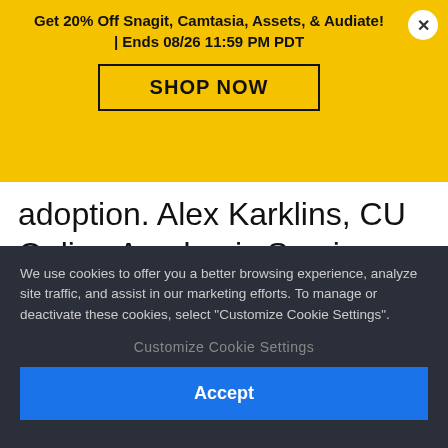Get 20% Off Snagit, Camtasia, Assets, & Audiate! | Ends 08/26 11:59 PM PDT
SHOP NOW
adoption. Alex Karklins, CU Online Academic Services Senior Professional, explains the faculty impact of integrating their video platform with the LMS: “It wasn’t until we installed the LTI integration into all of our Canvas courses that
We use cookies to offer you a better browsing experience, analyze site traffic, and assist in our marketing efforts. To manage or deactivate these cookies, select "Customize Cookie Settings".
Customize Cookie Settings
Accept